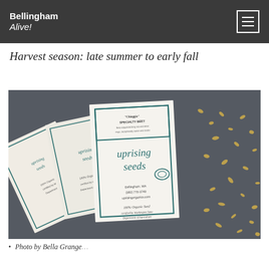Bellingham Alive!
Harvest season: late summer to early fall
[Figure (photo): Seed packets from Uprising Seeds company showing 'uprising seeds' branding, Bellingham WA, 100% Organic Seed certified by Washington State Department of Agriculture, with small dried flowers/seeds scattered around]
• Photo by Bella Grange...